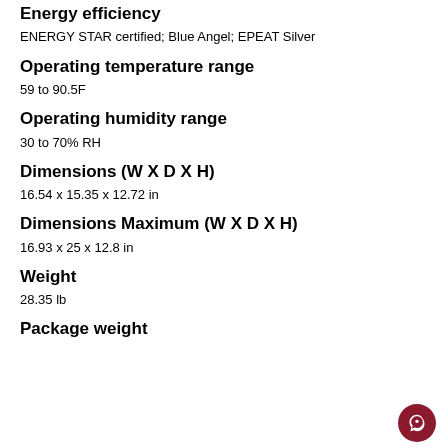Energy efficiency
ENERGY STAR certified; Blue Angel; EPEAT Silver
Operating temperature range
59 to 90.5F
Operating humidity range
30 to 70% RH
Dimensions (W X D X H)
16.54 x 15.35 x 12.72 in
Dimensions Maximum (W X D X H)
16.93 x 25 x 12.8 in
Weight
28.35 lb
Package weight